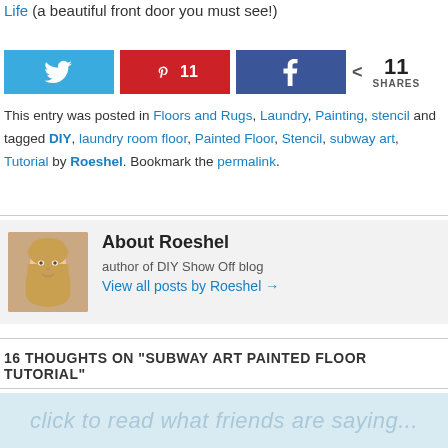Life (a beautiful front door you must see!)
[Figure (other): Social share buttons: Twitter, Pinterest (11 saves), Facebook, and share count showing 11 SHARES]
This entry was posted in Floors and Rugs, Laundry, Painting, stencil and tagged DIY, laundry room floor, Painted Floor, Stencil, subway art, Tutorial by Roeshel. Bookmark the permalink.
About Roeshel
[Figure (photo): Author photo of Roeshel, a woman with long wavy blonde hair, smiling]
author of DIY Show Off blog
View all posts by Roeshel →
16 THOUGHTS ON "SUBWAY ART PAINTED FLOOR TUTORIAL"
click to read what friends are saying...